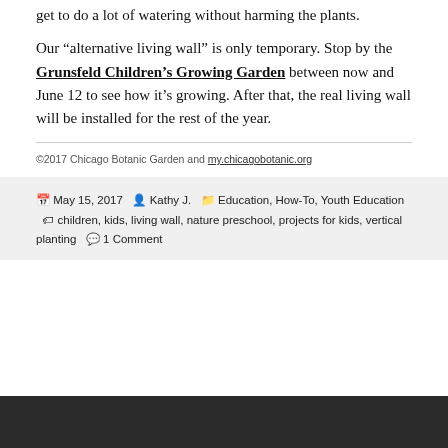get to do a lot of watering without harming the plants.
Our “alternative living wall” is only temporary. Stop by the Grunsfeld Children’s Growing Garden between now and June 12 to see how it’s growing. After that, the real living wall will be installed for the rest of the year.
©2017 Chicago Botanic Garden and my.chicagobotanic.org
Posted May 15, 2017  Author Kathy J.  Categories Education, How-To, Youth Education  Tags children, kids, living wall, nature preschool, projects for kids, vertical planting  1 Comment